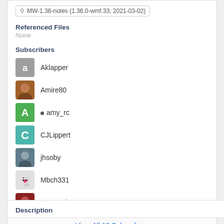MW-1.36-notes (1.36.0-wmf.33; 2021-03-02)
Referenced Files
None
Subscribers
Aklapper
Amire80
• amy_rc
CJLippert
jhsoby
Mbch331
MF-Warburg
View All 10 Subscribers
Description